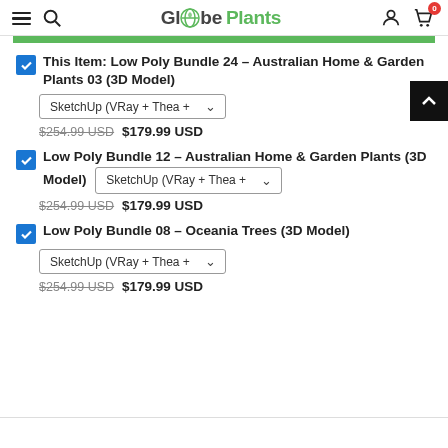Globe Plants — navigation header with hamburger, search, logo, user icon, cart (0)
This Item: Low Poly Bundle 24 - Australian Home & Garden Plants 03 (3D Model) — SketchUp (VRay + Thea +) — $254.99 USD $179.99 USD
Low Poly Bundle 12 - Australian Home & Garden Plants (3D Model) — SketchUp (VRay + Thea +) — $254.99 USD $179.99 USD
Low Poly Bundle 08 - Oceania Trees (3D Model) — SketchUp (VRay + Thea +) — $254.99 USD $179.99 USD